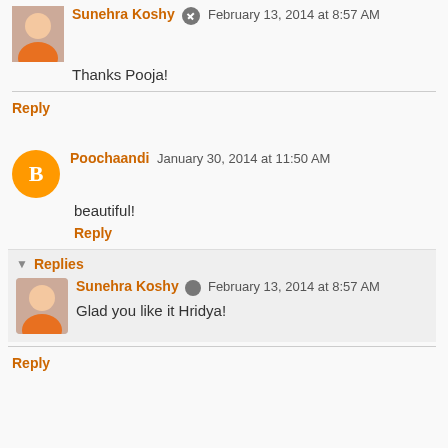Sunehra Koshy  February 13, 2014 at 8:57 AM
Thanks Pooja!
Reply
Poochaandi  January 30, 2014 at 11:50 AM
beautiful!
Reply
Replies
Sunehra Koshy  February 13, 2014 at 8:57 AM
Glad you like it Hridya!
Reply